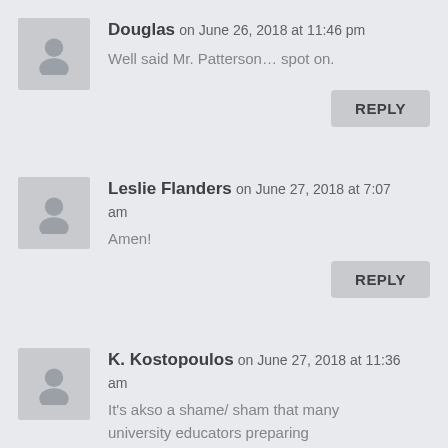Douglas on June 26, 2018 at 11:46 pm
Well said Mr. Patterson… spot on.
REPLY
Leslie Flanders on June 27, 2018 at 7:07 am
Amen!
REPLY
K. Kostopoulos on June 27, 2018 at 11:36 am
It's akso a shame/ sham that many university educators preparing